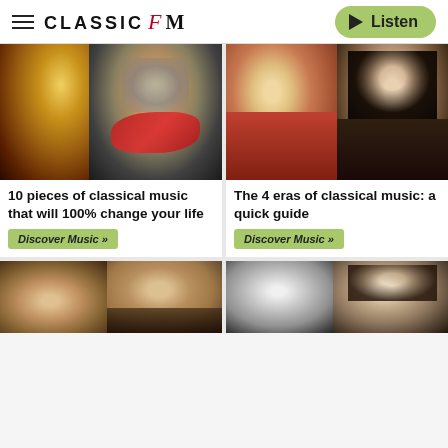CLASSIC fM — Listen
[Figure (photo): Beethoven portrait composite with ornate concert hall ceiling and red scarf]
10 pieces of classical music that will 100% change your life
Discover Music »
[Figure (photo): Mozart portrait in red coat beside a dark-haired woman portrait]
The 4 eras of classical music: a quick guide
Discover Music »
[Figure (photo): Two portraits at bottom left: Pavarotti and a classical composer]
[Figure (photo): Two female portraits at bottom right in black and white and period style]